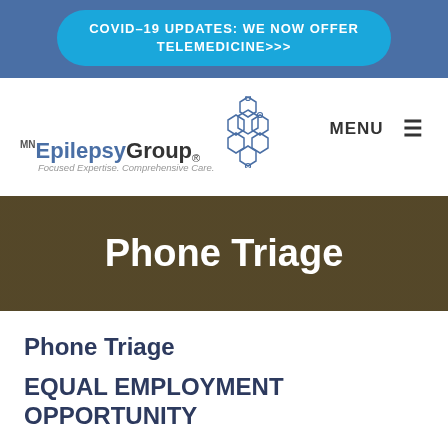COVID-19 UPDATES: WE NOW OFFER TELEMEDICINE>>>
[Figure (logo): MN EpilepsyGroup logo with hexagon molecular graphic and tagline 'Focused Expertise. Comprehensive Care.']
Phone Triage
Phone Triage
EQUAL EMPLOYMENT OPPORTUNITY